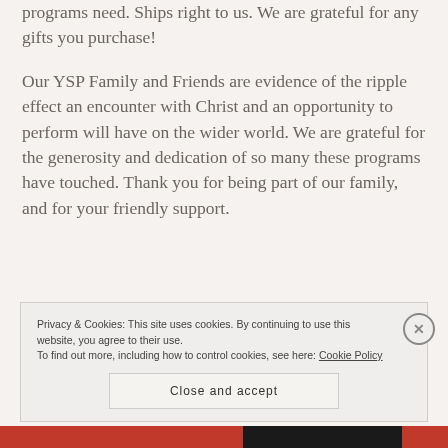programs need. Ships right to us. We are grateful for any gifts you purchase!
Our YSP Family and Friends are evidence of the ripple effect an encounter with Christ and an opportunity to perform will have on the wider world. We are grateful for the generosity and dedication of so many these programs have touched. Thank you for being part of our family, and for your friendly support.
Privacy & Cookies: This site uses cookies. By continuing to use this website, you agree to their use.
To find out more, including how to control cookies, see here: Cookie Policy
Close and accept